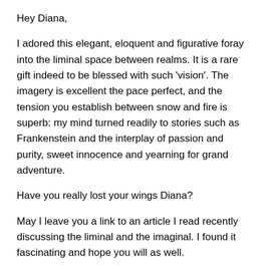Hey Diana,
I adored this elegant, eloquent and figurative foray into the liminal space between realms. It is a rare gift indeed to be blessed with such 'vision'. The imagery is excellent the pace perfect, and the tension you establish between snow and fire is superb: my mind turned readily to stories such as Frankenstein and the interplay of passion and purity, sweet innocence and yearning for grand adventure.
Have you really lost your wings Diana?
May I leave you a link to an article I read recently discussing the liminal and the imaginal. I found it fascinating and hope you will as well.